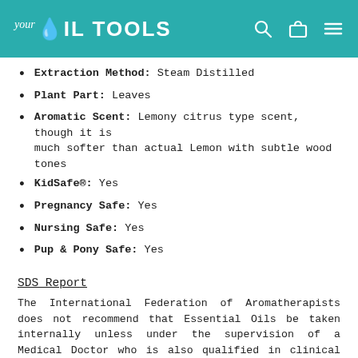Your Oil Tools
Extraction Method: Steam Distilled
Plant Part: Leaves
Aromatic Scent: Lemony citrus type scent, though it is much softer than actual Lemon with subtle wood tones
KidSafe®: Yes
Pregnancy Safe: Yes
Nursing Safe: Yes
Pup & Pony Safe: Yes
SDS Report
The International Federation of Aromatherapists does not recommend that Essential Oils be taken internally unless under the supervision of a Medical Doctor who is also qualified in clinical Aromatherapy. All cautions listed for individual oils do not include those cautions from ingestion.
This statement has not been evaluated by the Food and Drug